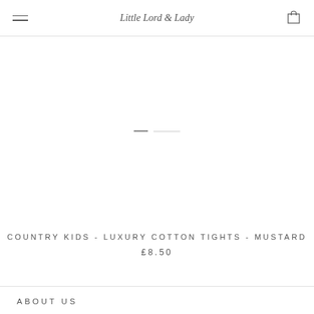Little Lord & Lady
[Figure (photo): Product image area with pagination dots indicating multiple images; image not visible/white area with two dots (one active, one inactive)]
COUNTRY KIDS - LUXURY COTTON TIGHTS - MUSTARD
£8.50
ABOUT US